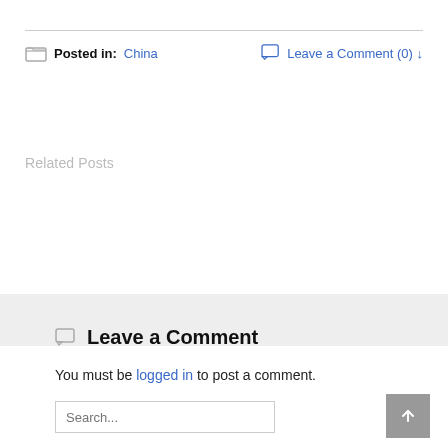Posted in: China
Leave a Comment (0) ↓
Related Posts
Leave a Comment
You must be logged in to post a comment.